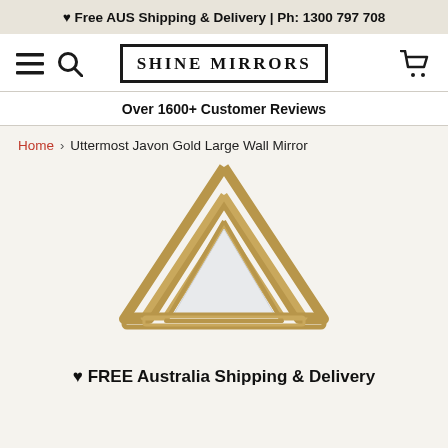♥ Free AUS Shipping & Delivery | Ph: 1300 797 708
[Figure (logo): Shine Mirrors logo in bold serif font inside a rectangular border, with hamburger menu and search icons on the left, and a shopping cart icon on the right]
Over 1600+ Customer Reviews
Home > Uttermost Javon Gold Large Wall Mirror
[Figure (photo): Uttermost Javon Gold Large Wall Mirror - a decorative mirror with gold geometric chevron/arrow shaped frame, showing the top portion of the mirror]
♥ FREE Australia Shipping & Delivery